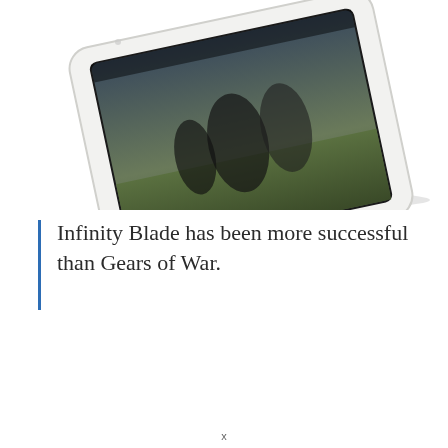[Figure (photo): A white iPad tablet shown at an angle displaying a dark fantasy/action video game screenshot (appears to be Infinity Blade or similar) with characters in battle on a green field.]
Infinity Blade has been more successful than Gears of War.